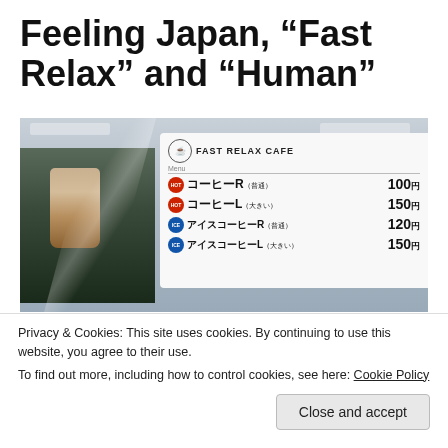Feeling Japan, “Fast Relax” and “Human”
[Figure (photo): Photo of a Fast Relax Cafe menu board showing coffee items with prices in Japanese yen: コーヒーR 100円, コーヒーL 150円, アイスコーヒーR 120円, アイスコーヒーL 150円]
Privacy & Cookies: This site uses cookies. By continuing to use this website, you agree to their use.
To find out more, including how to control cookies, see here: Cookie Policy
Close and accept